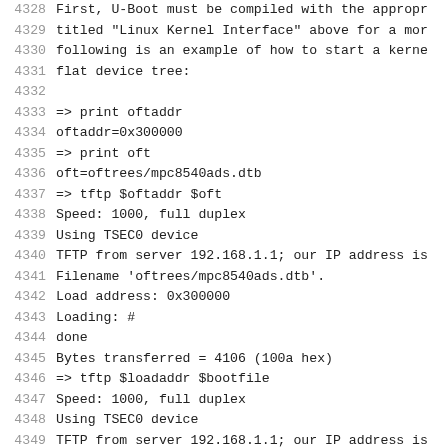4328  First, U-Boot must be compiled with the approp
4329  titled "Linux Kernel Interface" above for a mor
4330  following is an example of how to start a kerne
4331  flat device tree:
4332
4333  => print oftaddr
4334  oftaddr=0x300000
4335  => print oft
4336  oft=oftrees/mpc8540ads.dtb
4337  => tftp $oftaddr $oft
4338  Speed: 1000, full duplex
4339  Using TSEC0 device
4340  TFTP from server 192.168.1.1; our IP address is
4341  Filename 'oftrees/mpc8540ads.dtb'.
4342  Load address: 0x300000
4343  Loading: #
4344  done
4345  Bytes transferred = 4106 (100a hex)
4346  => tftp $loadaddr $bootfile
4347  Speed: 1000, full duplex
4348  Using TSEC0 device
4349  TFTP from server 192.168.1.1; our IP address is